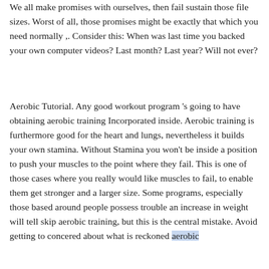We all make promises with ourselves, then fail sustain those file sizes. Worst of all, those promises might be exactly that which you need normally ,. Consider this: When was last time you backed your own computer videos? Last month? Last year? Will not ever?
Aerobic Tutorial. Any good workout program 's going to have obtaining aerobic training Incorporated inside. Aerobic training is furthermore good for the heart and lungs, nevertheless it builds your own stamina. Without Stamina you won't be inside a position to push your muscles to the point where they fail. This is one of those cases where you really would like muscles to fail, to enable them get stronger and a larger size. Some programs, especially those based around people possess trouble an increase in weight will tell skip aerobic training, but this is the central mistake. Avoid getting to concered about what is reckoned aerobic